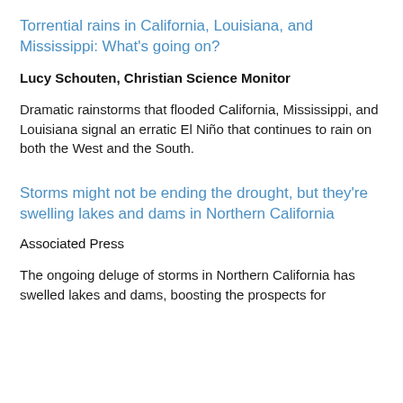Torrential rains in California, Louisiana, and Mississippi: What's going on?
Lucy Schouten, Christian Science Monitor
Dramatic rainstorms that flooded California, Mississippi, and Louisiana signal an erratic El Niño that continues to rain on both the West and the South.
Storms might not be ending the drought, but they're swelling lakes and dams in Northern California
Associated Press
The ongoing deluge of storms in Northern California has swelled lakes and dams, boosting the prospects for